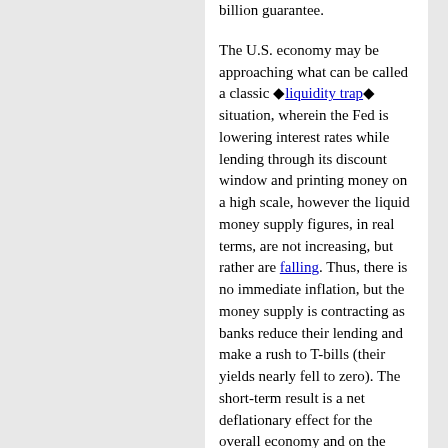billion guarantee. The U.S. economy may be approaching what can be called a classic liquidity trap situation, wherein the Fed is lowering interest rates while lending through its discount window and printing money on a high scale, however the liquid money supply figures, in real terms, are not increasing, but rather are falling. Thus, there is no immediate inflation, but the money supply is contracting as banks reduce their lending and make a rush to T-bills (their yields nearly fell to zero). The short-term result is a net deflationary effect for the overall economy and on the stock market (although the long-term bond market sees inflation ahead, and long-term rates are rising). The result is stock market crashes in repetition.
In fact, this is precisely what has happened over the last few weeks, not only in the United States, but also in the U.K and in other European countries. This is a very dangerous development for the real economy, because money data in real terms are a leading indicator of the future course of the economy. Six or nine